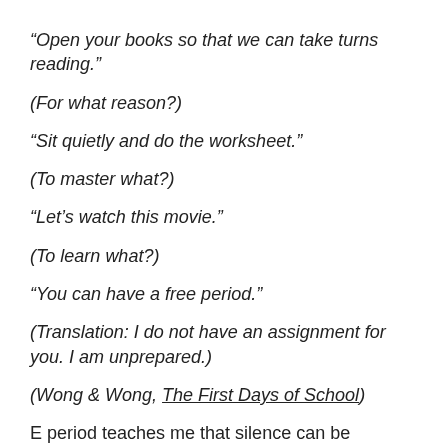“Open your books so that we can take turns reading.”
(For what reason?)
“Sit quietly and do the worksheet.”
(To master what?)
“Let’s watch this movie.”
(To learn what?)
“You can have a free period.”
(Translation: I do not have an assignment for you. I am unprepared.)
(Wong & Wong, The First Days of School)
E period teaches me that silence can be deadening, too